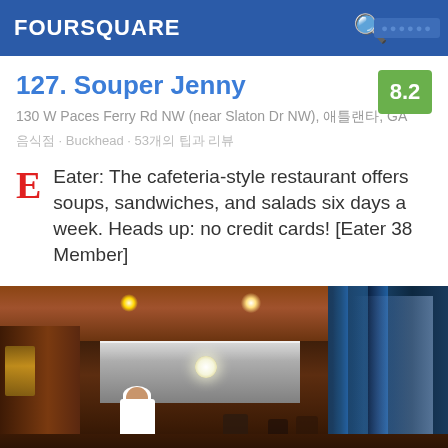FOURSQUARE
127. Souper Jenny
130 W Paces Ferry Rd NW (near Slaton Dr NW), 애틀랜타, GA
음식점 · Buckhead · 53개의 팁과 리뷰
Eater: The cafeteria-style restaurant offers soups, sandwiches, and salads six days a week. Heads up: no credit cards! [Eater 38 Member]
[Figure (photo): Interior photo of Souper Jenny restaurant showing a cafeteria-style setting with warm wood tones, stainless steel counter, kitchen staff in white coat and hat, restaurant patrons in background, warm ceiling lights, and blue decorative panels on the right wall.]